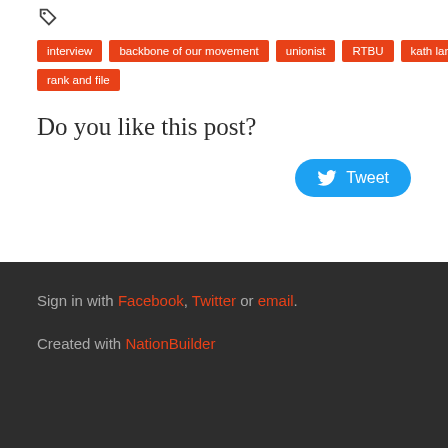interview
backbone of our movement
unionist
RTBU
kath larkin
rank and file
Do you like this post?
Tweet
Sign in with Facebook, Twitter or email.
Created with NationBuilder